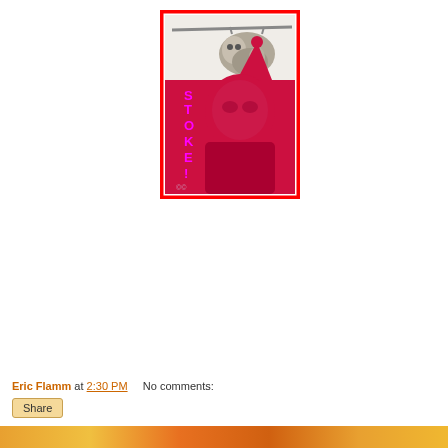[Figure (illustration): An artistic image with a red border showing a sloth hanging from a branch at the top, and a red/magenta duotone portrait of a person wearing an elf hat. Vertical magenta text reads 'STOKE!' down the left side of the image.]
Eric Flamm at 2:30 PM    No comments: